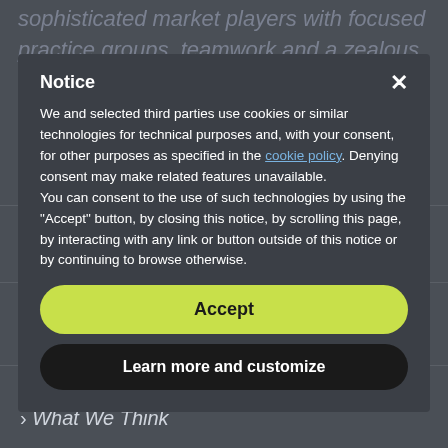sophisticated market players with focused practice groups, teamwork and a zealous
Notice
We and selected third parties use cookies or similar technologies for technical purposes and, with your consent, for other purposes as specified in the cookie policy. Denying consent may make related features unavailable.
You can consent to the use of such technologies by using the "Accept" button, by closing this notice, by scrolling this page, by interacting with any link or button outside of this notice or by continuing to browse otherwise.
QUICK LINKS
Accept
Learn more and customize
Home
> Attorneys
> Practice Divisions
> What We Think